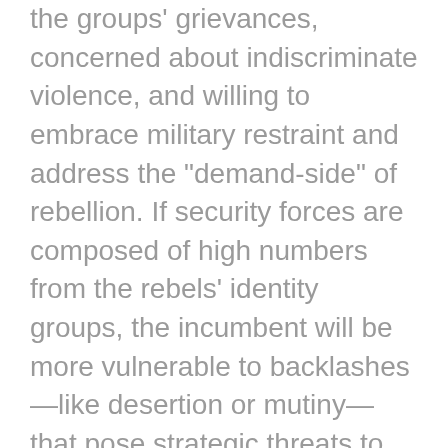the groups' grievances, concerned about indiscriminate violence, and willing to embrace military restraint and address the "demand-side" of rebellion. If security forces are composed of high numbers from the rebels' identity groups, the incumbent will be more vulnerable to backlashes—like desertion or mutiny—that pose strategic threats to cohesion. Co-ethnic representation in state institutions can also offer the state greater information and trust to substitute more discriminate targeting, credible bargaining, and the redressing of grievances for high violence within a military campaign.